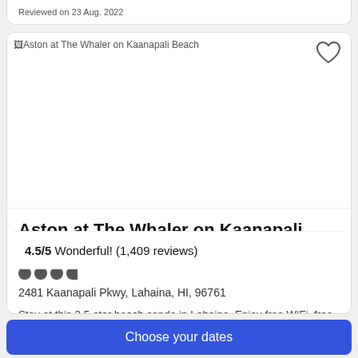Reviewed on 23 Aug. 2022
[Figure (photo): Hotel image placeholder for Aston at The Whaler on Kaanapali Beach]
Aston at The Whaler on Kaanapali Beach
2481 Kaanapali Pkwy, Lahaina, HI, 96761
Stay at this 3.5-star beach condo in Lahaina. Enjoy free WiFi, free parking and a beach locale. Our guests praise the helpful staff and the comfy beds in their ...
4.5/5 Wonderful! (1,409 reviews)
Choose your dates